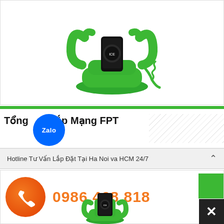[Figure (photo): Green retro rotary telephone handset docking station with a smartphone inserted, with a curly green cord, on white background]
Tổng Đài Lắp Mạng FPT
[Figure (logo): Zalo app circular blue icon with white 'Zalo' text]
Hotline Tư Vấn Lắp Đặt Tại Ha Noi va HCM 24/7
0986.468.818
[Figure (photo): Orange circular call button icon]
[Figure (photo): Green retro telephone with smartphone, partial view at bottom]
[Figure (other): Green chat/messenger button (top right area)]
[Figure (other): Black X close button at bottom right]